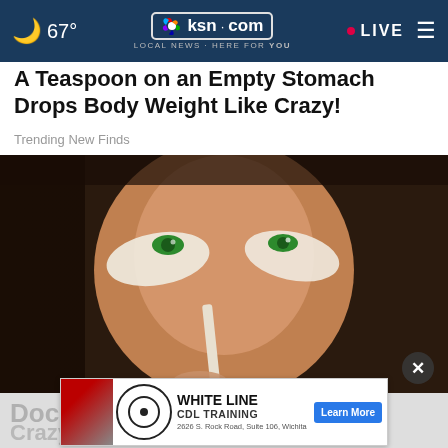67° | ksn.com LOCAL NEWS HERE FOR YOU | LIVE
A Teaspoon on an Empty Stomach Drops Body Weight Like Crazy!
Trending New Finds
[Figure (photo): Woman applying concealer or cream under her eyes with a makeup brush; she has green eyes and dark hair]
Doc
WHITE LINE CDL TRAINING   2626 S. Rock Road, Suite 106, Wichita   Learn More
Crazy (Try Tonight)